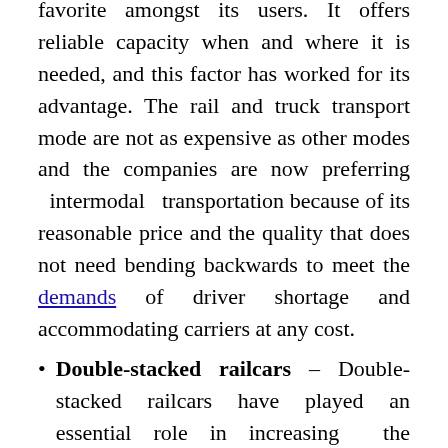favorite amongst its users. It offers reliable capacity when and where it is needed, and this factor has worked for its advantage. The rail and truck transport mode are not as expensive as other modes and the companies are now preferring intermodal transportation because of its reasonable price and the quality that does not need bending backwards to meet the demands of driver shortage and accommodating carriers at any cost.
Double-stacked railcars – Double-stacked railcars have played an essential role in increasing the shipment volumes because one container can be placed on